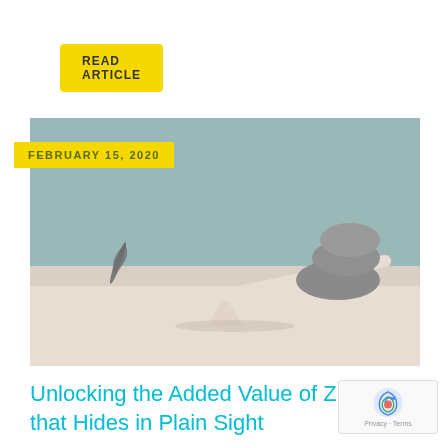READ ARTICLE
[Figure (photo): A seesaw/balance beam with stacked grey stones on the right side weighing it down, and a single feather on the lifted left side, against a muted blue-grey background.]
FEBRUARY 15, 2020
Unlocking the Added Value of Z that Hides in Plain Sight